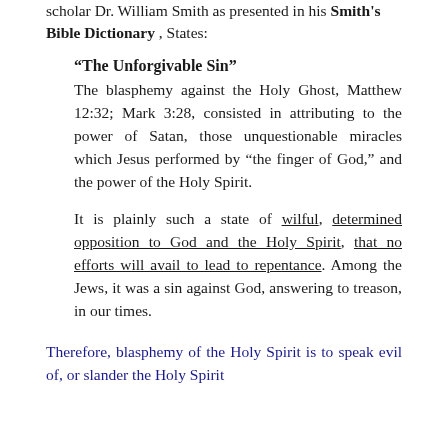scholar Dr. William Smith as presented in his Smith's Bible Dictionary, States:
“The Unforgivable Sin”
The blasphemy against the Holy Ghost, Matthew 12:32; Mark 3:28, consisted in attributing to the power of Satan, those unquestionable miracles which Jesus performed by “the finger of God,” and the power of the Holy Spirit.
It is plainly such a state of wilful, determined opposition to God and the Holy Spirit, that no efforts will avail to lead to repentance. Among the Jews, it was a sin against God, answering to treason, in our times.
Therefore, blasphemy of the Holy Spirit is to speak evil of, or slander the Holy Spirit